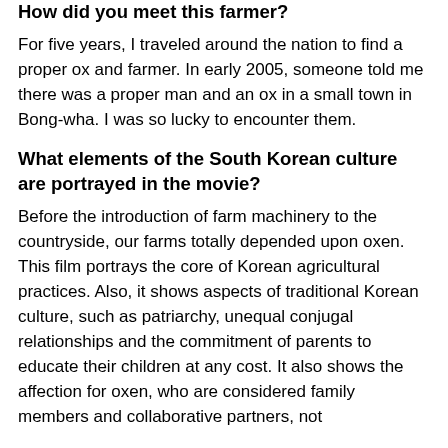How did you meet this farmer?
For five years, I traveled around the nation to find a proper ox and farmer. In early 2005, someone told me there was a proper man and an ox in a small town in Bong-wha. I was so lucky to encounter them.
What elements of the South Korean culture are portrayed in the movie?
Before the introduction of farm machinery to the countryside, our farms totally depended upon oxen. This film portrays the core of Korean agricultural practices. Also, it shows aspects of traditional Korean culture, such as patriarchy, unequal conjugal relationships and the commitment of parents to educate their children at any cost. It also shows the affection for oxen, who are considered family members and collaborative partners, not